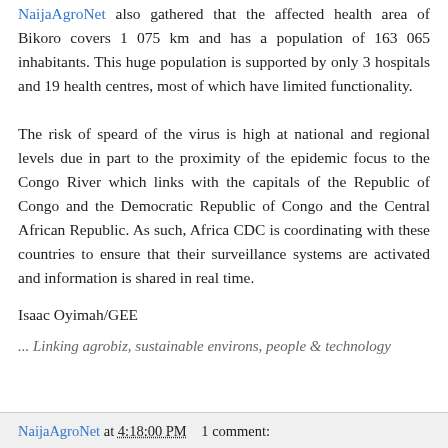NaijaAgroNet also gathered that the affected health area of Bikoro covers 1 075 km and has a population of 163 065 inhabitants. This huge population is supported by only 3 hospitals and 19 health centres, most of which have limited functionality.
The risk of speard of the virus is high at national and regional levels due in part to the proximity of the epidemic focus to the Congo River which links with the capitals of the Republic of Congo and the Democratic Republic of Congo and the Central African Republic. As such, Africa CDC is coordinating with these countries to ensure that their surveillance systems are activated and information is shared in real time.
Isaac Oyimah/GEE
... Linking agrobiz, sustainable environs, people & technology
NaijaAgroNet at 4:18:00 PM   1 comment: